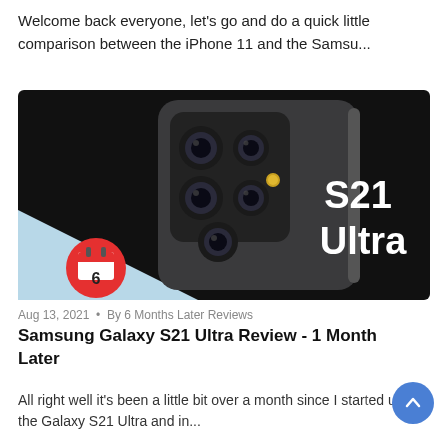Welcome back everyone, let's go and do a quick little comparison between the iPhone 11 and the Samsu...
[Figure (photo): Samsung Galaxy S21 Ultra promotional image showing the back of a dark gray smartphone with a large camera module array. The right side of the image shows white bold text 'S21 Ultra' on a black background. Bottom-left corner has a light blue triangle with a red circle containing a calendar icon showing the number 6.]
Aug 13, 2021 • By 6 Months Later Reviews
Samsung Galaxy S21 Ultra Review - 1 Month Later
All right well it's been a little bit over a month since I started using the Galaxy S21 Ultra and in...